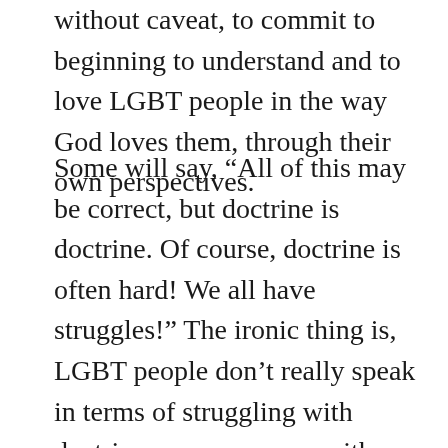without caveat, to commit to beginning to understand and to love LGBT people in the way God loves them, through their own perspectives.
Some will say, “All of this may be correct, but doctrine is doctrine. Of course, doctrine is often hard! We all have struggles!” The ironic thing is, LGBT people don’t really speak in terms of struggling with doctrine per se, or even with homosexuality. I hear them speaking of their struggle with the alienation, even rejection, they feel by their church, its members, and, too often, their families. I have no interest in arguing whether one doctrine is harder than another, or whether or not different people wrestle equally with various doctrines. Instead, I remind you that your perspective, applied to